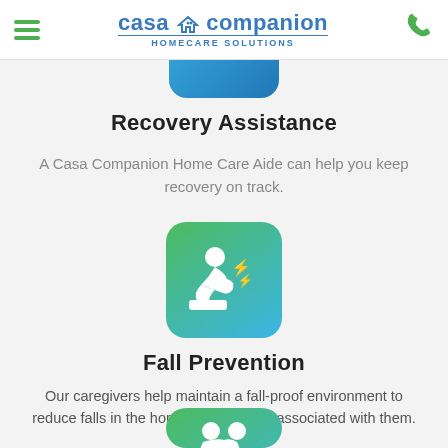Casa Companion Homecare Solutions
[Figure (illustration): Partially visible blue rounded square icon at top, cut off by header]
Recovery Assistance
A Casa Companion Home Care Aide can help you keep recovery on track.
[Figure (illustration): Green-to-blue gradient rounded square icon with white figure hunched over in pain with lightning bolt symbols indicating pain]
Fall Prevention
Our caregivers help maintain a fall-proof environment to reduce falls in the home and the risks associated with them.
[Figure (illustration): Partially visible green-to-blue gradient rounded square icon at bottom with white figures, partially cut off]